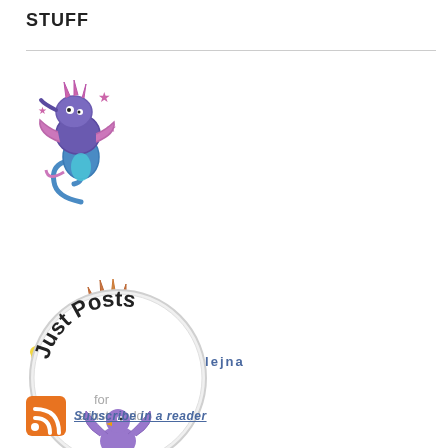STUFF
[Figure (illustration): Colorful cartoon seahorse-like creature in blue and purple with star decorations]
about alejna
[Figure (illustration): Cartoon comet or dinosaur creature with spikes in brown and yellow]
contact alejna
[Figure (illustration): Round badge reading 'Just Posts for a just world' with a purple bird]
[Figure (logo): RSS feed orange icon]
Subscribe in a reader